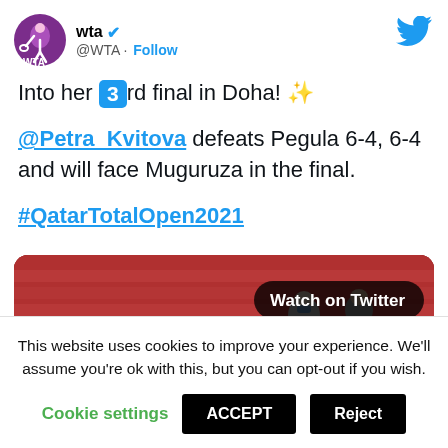[Figure (screenshot): WTA Twitter profile header with circular logo showing a female tennis player silhouette in purple/pink, WTA text below. Blue Twitter bird icon top right.]
Into her 3rd final in Doha! ✨

@Petra_Kvitova defeats Pegula 6-4, 6-4 and will face Muguruza in the final.

#QatarTotalOpen2021
[Figure (screenshot): Video thumbnail showing tennis player waving to crowd at Qatar Total Open 2021. 'Watch on Twitter' badge top right, play button centered, 'SMA' text visible at bottom.]
This website uses cookies to improve your experience. We'll assume you're ok with this, but you can opt-out if you wish.
Cookie settings   ACCEPT   Reject